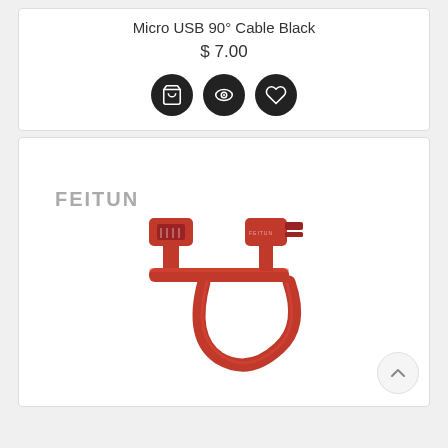Micro USB 90° Cable Black
$ 7.00
[Figure (screenshot): Three circular dark icon buttons: shopping cart, eye/view, and heart/wishlist]
[Figure (photo): Product photo of a red Micro USB 90-degree angle cable by FEITUN brand, showing both USB-A and Micro USB connectors at right angles, red braided cable, on white background with FEITUN logo watermark]